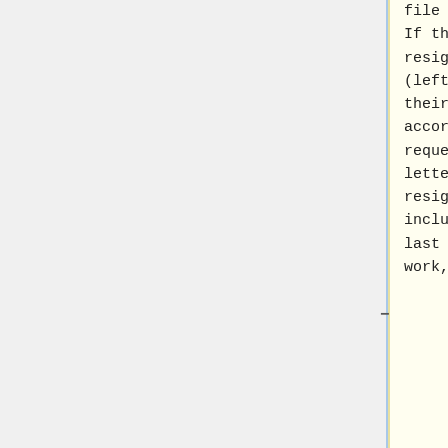file on RT. If they resigned (left of their own accord) request a letter of resignation including last day of work,
their personnel file on RT. If they resigned (left of their own accord) request a letter of resignation including last day of work, last day on payroll, reason for leaving. (This documents that Free Geek did not